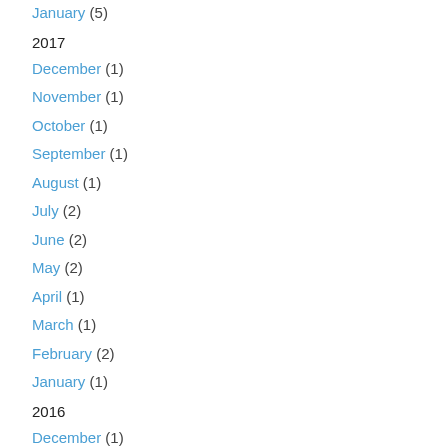January (5)
2017
December (1)
November (1)
October (1)
September (1)
August (1)
July (2)
June (2)
May (2)
April (1)
March (1)
February (2)
January (1)
2016
December (1)
November (2)
October (1)